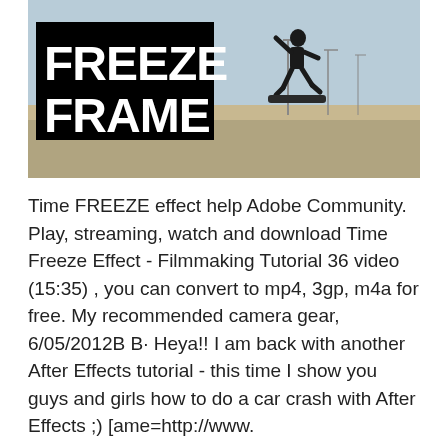[Figure (photo): A skateboarder silhouetted mid-air doing a trick against a light blue sky, with parking lot and street lights visible in the background. Large bold white text 'FREEZE FRAME' in a black box overlaid on the left side of the image.]
Time FREEZE effect help Adobe Community. Play, streaming, watch and download Time Freeze Effect - Filmmaking Tutorial 36 video (15:35) , you can convert to mp4, 3gp, m4a for free. My recommended camera gear, 6/05/2012B B· Heya!! I am back with another After Effects tutorial - this time I show you guys and girls how to do a car crash with After Effects ;) [ame=http://www.